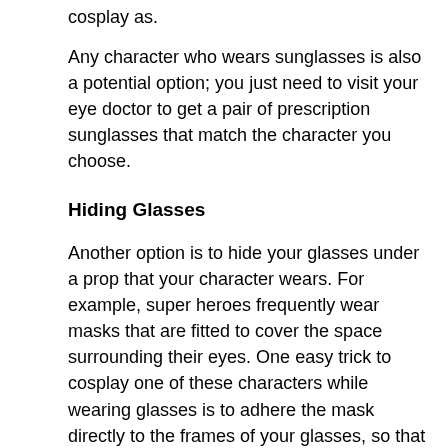cosplay as.
Any character who wears sunglasses is also a potential option; you just need to visit your eye doctor to get a pair of prescription sunglasses that match the character you choose.
Hiding Glasses
Another option is to hide your glasses under a prop that your character wears. For example, super heroes frequently wear masks that are fitted to cover the space surrounding their eyes. One easy trick to cosplay one of these characters while wearing glasses is to adhere the mask directly to the frames of your glasses, so that the frames of your glasses are hidden under the mask, but you can still see through the lenses.
Helmets
If all else fails, consider dressing up as a character who wears a helmet! From fantasy epics to futuristic space heroes, there are plenty of full-face helmets in popular